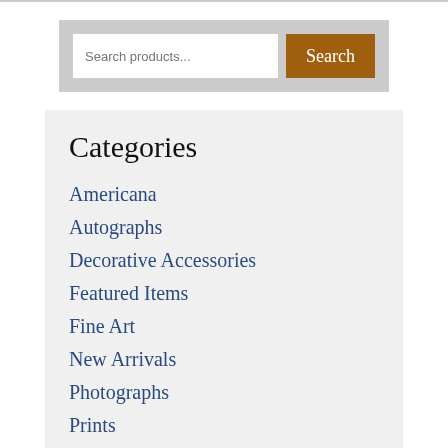[Figure (screenshot): Search bar with text input field showing placeholder 'Search products...' and an orange 'Search' button, inside a gray container]
Categories
Americana
Autographs
Decorative Accessories
Featured Items
Fine Art
New Arrivals
Photographs
Prints
Rare & Out-of-Print Books